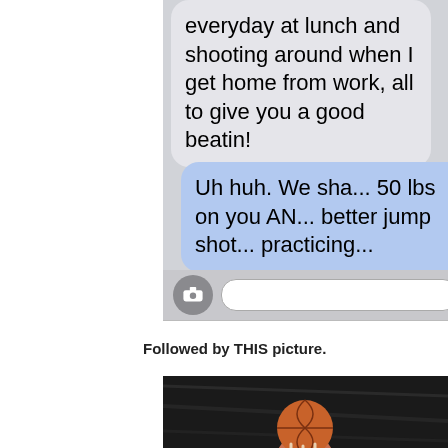[Figure (screenshot): SMS text message conversation screenshot. Grey bubble (received): 'everyday at lunch and shooting around when I get home from work, all to give you a good beatin!' Blue bubble (sent): 'Uh huh. We sha... 50 lbs on you AN... better jump shot... practicing...' Input bar with camera button at bottom.]
Followed by THIS picture.
[Figure (photo): Close-up photo of a hand holding a basketball against a dark textured background.]